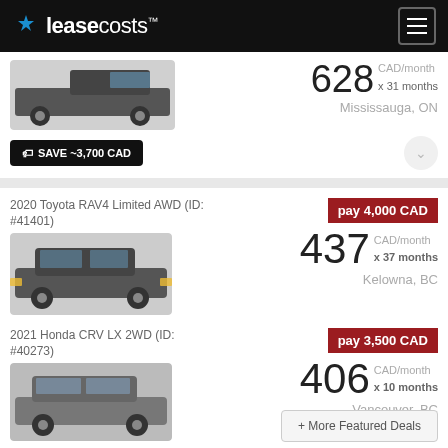leasecosts™
[Figure (photo): Partial listing: dark pickup truck, price 628 CAD/month x 31 months, Mississauga, ON, SAVE ~3,700 CAD]
2020 Toyota RAV4 Limited AWD (ID: #41401)
pay 4,000 CAD
437 CAD/month x 37 months Kelowna, BC
SAVE ~7,000 CAD
2021 Honda CRV LX 2WD (ID: #40273)
pay 3,500 CAD
406 CAD/month x 10 months Vancouver, BC
+ More Featured Deals